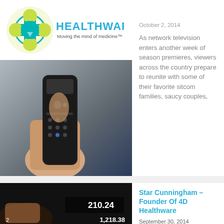[Figure (logo): Healthware logo with cross/plus medical icon in teal and yellow-green, text HEALTHWARE Moving the mind of medicine]
[Figure (photo): Hand holding a TV remote control with a screen in the background]
October 2, 2014
As network television enters another week of season premieres, viewers across the country prepare to reunite with some of their favorite sitcom families, saucy couples,
[Figure (photo): Person using a scanning device showing numbers 210.24 and 1,218.38 on a dark screen]
Star Cunningham – Founder Of 4D Healthware
September 30, 2014